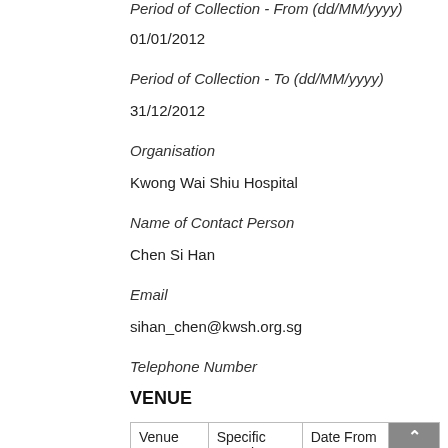Period of Collection - From (dd/MM/yyyy)
01/01/2012
Period of Collection - To (dd/MM/yyyy)
31/12/2012
Organisation
Kwong Wai Shiu Hospital
Name of Contact Person
Chen Si Han
Email
sihan_chen@kwsh.org.sg
Telephone Number
VENUE
| Venue | Specific Location | Date From | Date |
| --- | --- | --- | --- |